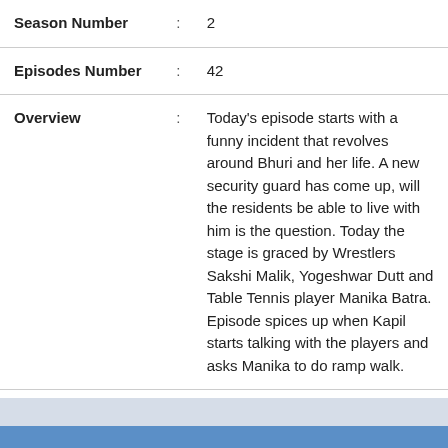| Season Number | : | 2 |
| Episodes Number | : | 42 |
| Overview | : | Today's episode starts with a funny incident that revolves around Bhuri and her life. A new security guard has come up, will the residents be able to live with him is the question. Today the stage is graced by Wrestlers Sakshi Malik, Yogeshwar Dutt and Table Tennis player Manika Batra. Episode spices up when Kapil starts talking with the players and asks Manika to do ramp walk. |
| Stars | : | Kapil Sharma (Self - Host), , Krishna Abhishek (Sapna), , Archana Puran Singh (), |